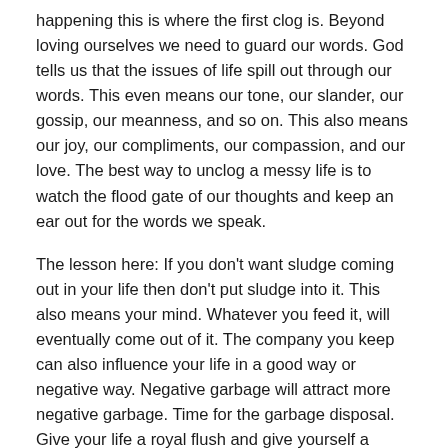happening this is where the first clog is. Beyond loving ourselves we need to guard our words. God tells us that the issues of life spill out through our words. This even means our tone, our slander, our gossip, our meanness, and so on. This also means our joy, our compliments, our compassion, and our love. The best way to unclog a messy life is to watch the flood gate of our thoughts and keep an ear out for the words we speak.
The lesson here: If you don't want sludge coming out in your life then don't put sludge into it. This also means your mind. Whatever you feed it, will eventually come out of it. The company you keep can also influence your life in a good way or negative way. Negative garbage will attract more negative garbage. Time for the garbage disposal. Give your life a royal flush and give yourself a break. This is an inside job, so don't put this on anyone else. Your life might affect others close to you, but your personal